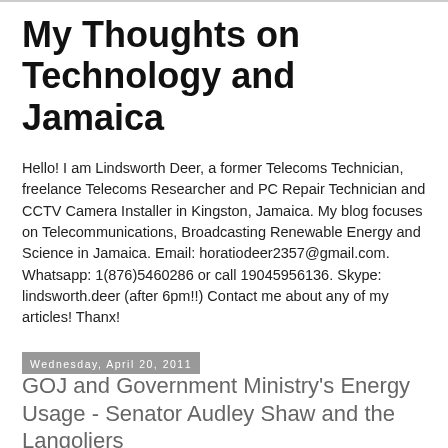My Thoughts on Technology and Jamaica
Hello! I am Lindsworth Deer, a former Telecoms Technician, freelance Telecoms Researcher and PC Repair Technician and CCTV Camera Installer in Kingston, Jamaica. My blog focuses on Telecommunications, Broadcasting Renewable Energy and Science in Jamaica. Email: horatiodeer2357@gmail.com. Whatsapp: 1(876)5460286 or call 19045956136. Skype: lindsworth.deer (after 6pm!!) Contact me about any of my articles! Thanx!
Wednesday, April 20, 2011
GOJ and Government Ministry's Energy Usage - Senator Audley Shaw and the Langoliers